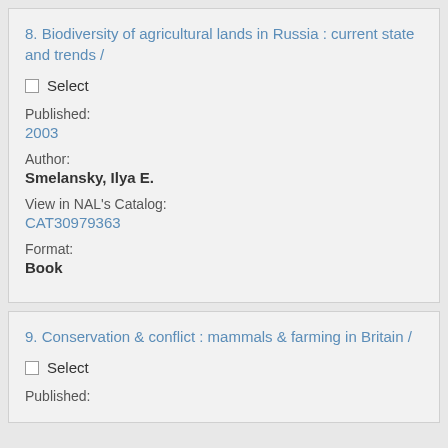8. Biodiversity of agricultural lands in Russia : current state and trends /
Select
Published:
2003
Author:
Smelansky, Ilya E.
View in NAL's Catalog:
CAT30979363
Format:
Book
9. Conservation & conflict : mammals & farming in Britain /
Select
Published: